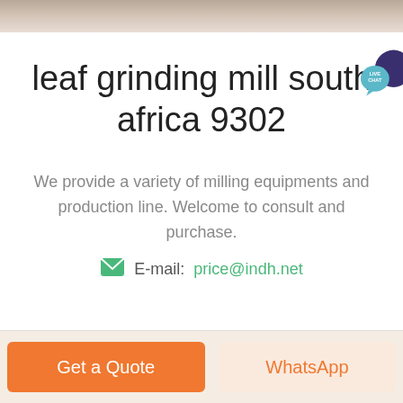[Figure (photo): Top decorative stone or concrete textured banner image]
leaf grinding mill south africa 9302
[Figure (illustration): Live Chat speech bubble icon in top right corner of title area]
We provide a variety of milling equipments and production line. Welcome to consult and purchase.
E-mail: price@indh.net
Get a Quote
WhatsApp